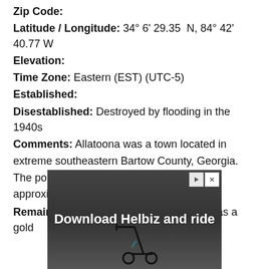Zip Code:
Latitude / Longitude: 34° 6' 29.35  N, 84° 42' 40.77 W
Elevation:
Time Zone: Eastern (EST) (UTC-5)
Established:
Disestablished: Destroyed by flooding in the 1940s
Comments: Allatoona was a town located in extreme southeastern Bartow County, Georgia. The population is estimated to have been approximately 1,000.
Remains: Built along Allatoona Creek, it was a gold
[Figure (photo): Advertisement banner for Helbiz scooter app showing the text 'Download Helbiz and ride' over a dark background with a scooter image]